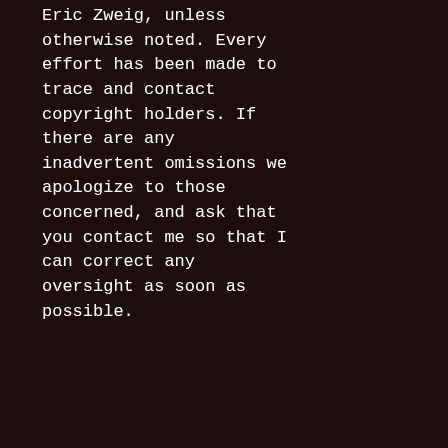Eric Zweig, unless otherwise noted. Every effort has been made to trace and contact copyright holders. If there are any inadvertent omissions we apologize to those concerned, and ask that you contact me so that I can correct any oversight as soon as possible.